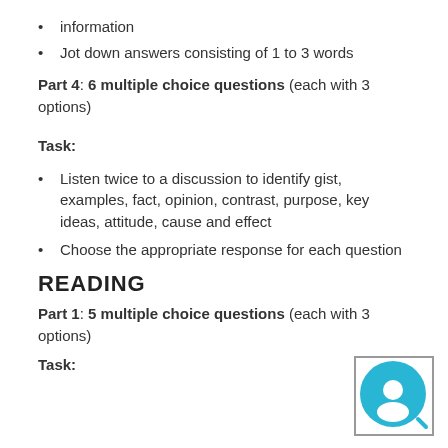information
Jot down answers consisting of 1 to 3 words
Part 4: 6 multiple choice questions (each with 3 options)
Task:
Listen twice to a discussion to identify gist, examples, fact, opinion, contrast, purpose, key ideas, attitude, cause and effect
Choose the appropriate response for each question
READING
Part 1: 5 multiple choice questions (each with 3 options)
Task: